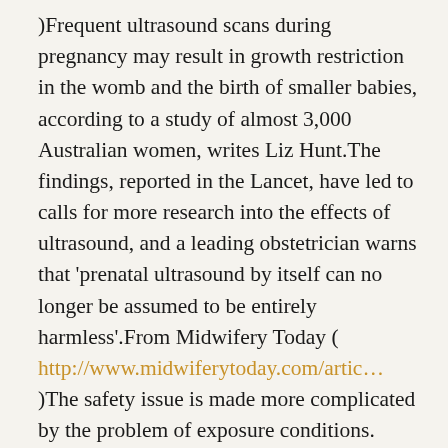)Frequent ultrasound scans during pregnancy may result in growth restriction in the womb and the birth of smaller babies, according to a study of almost 3,000 Australian women, writes Liz Hunt.The findings, reported in the Lancet, have led to calls for more research into the effects of ultrasound, and a leading obstetrician warns that 'prenatal ultrasound by itself can no longer be assumed to be entirely harmless'.From Midwifery Today ( http://www.midwiferytoday.com/artic… )The safety issue is made more complicated by the problem of exposure conditions. Clearly, any bio-effects that might occur as a result of ultrasound would depend on the dose of ultrasound received by the fetus or woman.